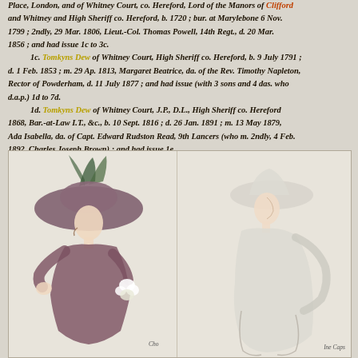Place, London, and of Whitney Court, co. Hereford, Lord of the Manors of Clifford and Whitney and High Sheriff co. Hereford, b. 1720; bur. at Marylebone 6 Nov. 1799; 2ndly, 29 Mar. 1806, Lieut.-Col. Thomas Powell, 14th Regt., d. 20 Mar. 1856; and had issue 1c to 3c.
1c. Tomkyns Dew of Whitney Court, High Sheriff co. Hereford, b. 9 July 1791; d. 1 Feb. 1853; m. 29 Ap. 1813, Margaret Beatrice, da. of the Rev. Timothy Napleton, Rector of Powderham, d. 11 July 1877; and had issue (with 3 sons and 4 das. who d.a.p.) 1d to 7d.
1d. Tomkyns Dew of Whitney Court, J.P., D.L., High Sheriff co. Hereford 1868, Bar.-at-Law I.T., &c., b. 10 Sept. 1816; d. 26 Jan. 1891; m. 13 May 1879, Ada Isabella, da. of Capt. Edward Rudston Read, 9th Lancers (who m. 2ndly, 4 Feb. 1892, Charles Joseph Brown); and had issue 1e.
1e. Rosamond Clifford Dew, b. 11 Sept. 1887.
[Figure (illustration): Two fashion illustrations side by side. Left: a woman seated wearing a large wide-brimmed hat with feathers and a dark dress, holding white flowers. Right: a woman in profile wearing a white hat and white flowing dress/cape. Small italic captions below each figure.]